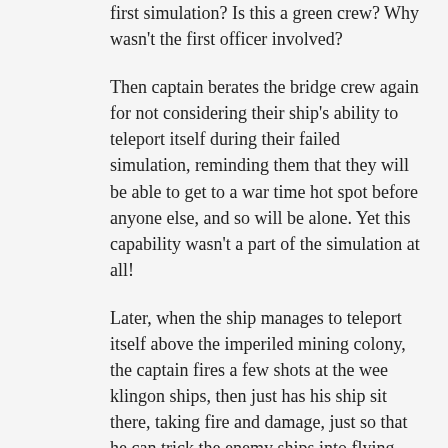first simulation? Is this a green crew? Why wasn't the first officer involved?
Then captain berates the bridge crew again for not considering their ship's ability to teleport itself during their failed simulation, reminding them that they will be able to get to a war time hot spot before anyone else, and so will be alone. Yet this capability wasn't a part of the simulation at all!
Later, when the ship manages to teleport itself above the imperiled mining colony, the captain fires a few shots at the wee klingon ships, then just has his ship sit there, taking fire and damage, just so that he can trick the enemy ships into flying directly at them, and he can drop some unidentified bombs and use the fungus drive to jump away, leaving the ships to be blown up by the bombs. This was a trick he clearly had in mind from the start, but didn't bother telling his crew about. It was also pretty foolish, because they could have just used their regular weapons to blow them up and not damage the